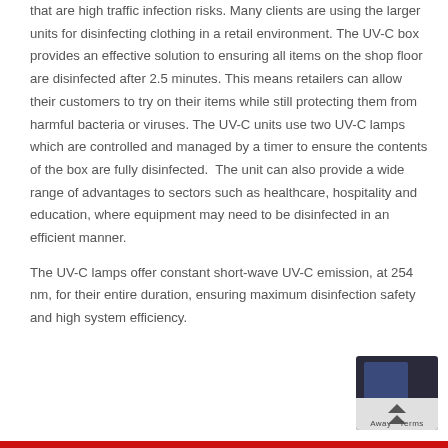that are high traffic infection risks. Many clients are using the larger units for disinfecting clothing in a retail environment. The UV-C box provides an effective solution to ensuring all items on the shop floor are disinfected after 2.5 minutes. This means retailers can allow their customers to try on their items while still protecting them from harmful bacteria or viruses. The UV-C units use two UV-C lamps which are controlled and managed by a timer to ensure the contents of the box are fully disinfected. The unit can also provide a wide range of advantages to sectors such as healthcare, hospitality and education, where equipment may need to be disinfected in an efficient manner.
The UV-C lamps offer constant short-wave UV-C emission, at 254 nm, for their entire duration, ensuring maximum disinfection safety and high system efficiency.